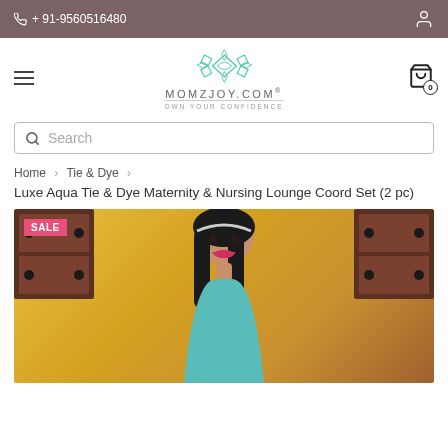+ 91-9560516480
[Figure (logo): MOMZJOY.COM logo with geometric diamond pattern in teal, tagline OWN YOUR CONFIDENCE]
Search
Home › Tie & Dye ›
Luxe Aqua Tie & Dye Maternity & Nursing Lounge Coord Set (2 pc)
[Figure (photo): Model wearing aqua tie & dye maternity coord set, posing in front of yellow wall with dark wooden shutters. SALE badge visible in top-left corner.]